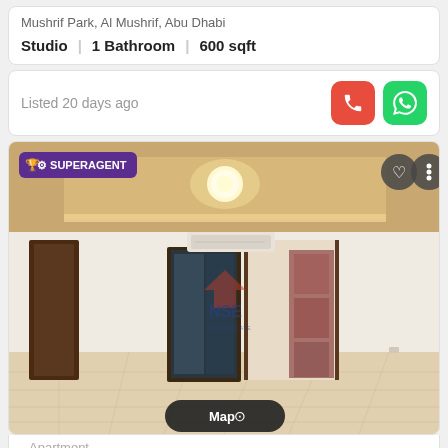Mushrif Park, Al Mushrif, Abu Dhabi
Studio | 1 Bathroom | 600 sqft
Listed 20 days ago
[Figure (photo): Interior photo of a studio apartment with wood-look tile flooring, tray ceiling with ambient lighting, air conditioning unit, dark wood doors, and open doorway. SUPERAGENT badge visible top-left. NSE logo watermark in center.]
Apartment